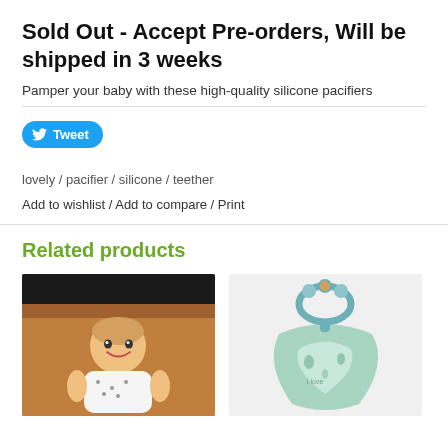Sold Out - Accept Pre-orders, Will be shipped in 3 weeks
Pamper your baby with these high-quality silicone pacifiers
[Figure (other): Twitter Tweet button]
lovely / pacifier / silicone / teether
Add to wishlist / Add to compare / Print
Related products
[Figure (photo): Baby boy smiling, sitting on a brown leather couch, wearing a white onesie with animal print]
[Figure (photo): Silicone teether and lovey blanket toy in teal/mint color with decorative print, displayed on white background]